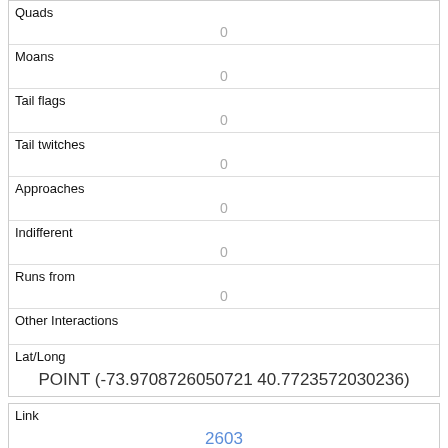| Quads | 0 |
| Moans | 0 |
| Tail flags | 0 |
| Tail twitches | 0 |
| Approaches | 0 |
| Indifferent | 0 |
| Runs from | 0 |
| Other Interactions |  |
| Lat/Long | POINT (-73.9708726050721 40.7723572030236) |
| Link | 2603 |